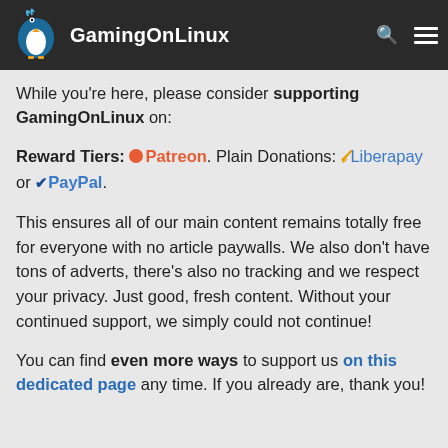GamingOnLinux
While you're here, please consider supporting GamingOnLinux on:
Reward Tiers: Patreon. Plain Donations: Liberapay or PayPal.
This ensures all of our main content remains totally free for everyone with no article paywalls. We also don't have tons of adverts, there's also no tracking and we respect your privacy. Just good, fresh content. Without your continued support, we simply could not continue!
You can find even more ways to support us on this dedicated page any time. If you already are, thank you!